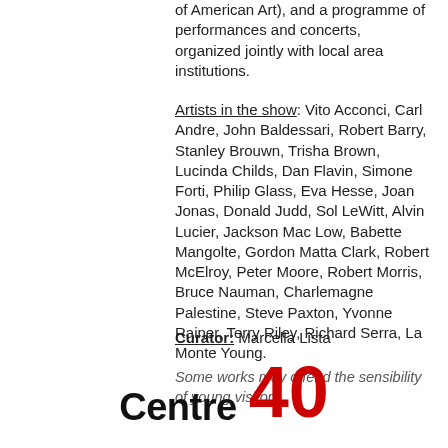of American Art), and a programme of performances and concerts, organized jointly with local area institutions.
Artists in the show: Vito Acconci, Carl Andre, John Baldessari, Robert Barry, Stanley Brouwn, Trisha Brown, Lucinda Childs, Dan Flavin, Simone Forti, Philip Glass, Eva Hesse, Joan Jonas, Donald Judd, Sol LeWitt, Alvin Lucier, Jackson Mac Low, Babette Mangolte, Gordon Matta Clark, Robert McElroy, Peter Moore, Robert Morris, Bruce Nauman, Charlemagne Palestine, Steve Paxton, Yvonne Rainer, Terry Riley, Richard Serra, La Monte Young.
Curator: Marcella Lista
Some works may offend the sensibility of young visitors.
[Figure (logo): Centre Pompidou 40th anniversary logo with large red '40' and bold black text]